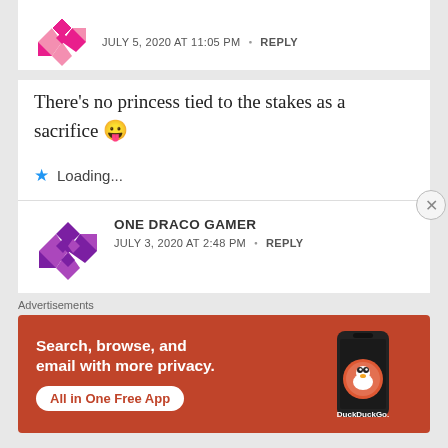[Figure (illustration): Pink geometric/quilt avatar icon for anonymous commenter]
JULY 5, 2020 AT 11:05 PM · REPLY
There's no princess tied to the stakes as a sacrifice 😛
Loading...
[Figure (illustration): Purple geometric/quilt avatar icon for ONE DRACO GAMER]
ONE DRACO GAMER
JULY 3, 2020 AT 2:48 PM · REPLY
Advertisements
[Figure (screenshot): DuckDuckGo advertisement banner: Search, browse, and email with more privacy. All in One Free App. Shows a phone with DuckDuckGo logo.]